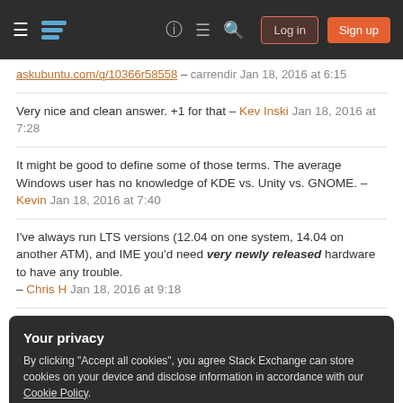Stack Exchange navigation header with hamburger menu, logo, help, chat, search icons, Log in and Sign up buttons
askubuntu.com/q/10366r58558 – carrendir Jan 18, 2016 at 6:15
Very nice and clean answer. +1 for that – Kev Inski Jan 18, 2016 at 7:28
It might be good to define some of those terms. The average Windows user has no knowledge of KDE vs. Unity vs. GNOME. – Kevin Jan 18, 2016 at 7:40
I've always run LTS versions (12.04 on one system, 14.04 on another ATM), and IME you'd need very newly released hardware to have any trouble. – Chris H Jan 18, 2016 at 9:18
Your privacy
By clicking "Accept all cookies", you agree Stack Exchange can store cookies on your device and disclose information in accordance with our Cookie Policy.
Accept all cookies   Customize settings
you might consider partitioning your drive and